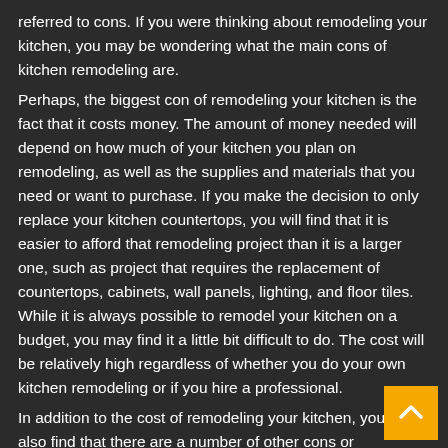referred to cons. If you were thinking about remodeling your kitchen, you may be wondering what the main cons of kitchen remodeling are.
Perhaps, the biggest con of remodeling your kitchen is the fact that it costs money. The amount of money needed will depend on how much of your kitchen you plan on remodeling, as well as the supplies and materials that you need or want to purchase. If you make the decision to only replace your kitchen countertops, you will find that it is easier to afford that remodeling project than it is a larger one, such as project that requires the replacement of countertops, cabinets, wall panels, lighting, and floor tiles. While it is always possible to remodel your kitchen on a budget, you may find it a little bit difficult to do. The cost will be relatively high regardless of whether you do your own kitchen remodeling or if you hire a professional.
In addition to the cost of remodeling your kitchen, you will also find that there are a number of other cons or disadvanta... One of those cons is the time that it takes to remodel you... kitchen. Regardless of how much of your kitchen you choose...